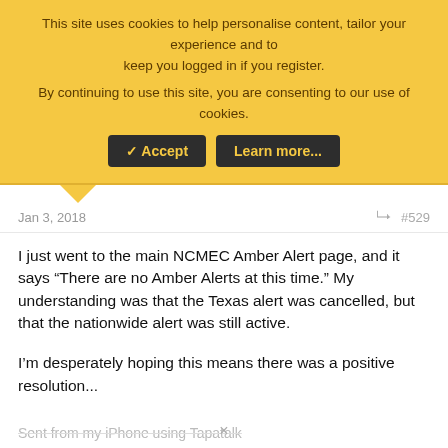This site uses cookies to help personalise content, tailor your experience and to keep you logged in if you register.
By continuing to use this site, you are consenting to our use of cookies.
[Accept] [Learn more...]
Jan 3, 2018  #529
I just went to the main NCMEC Amber Alert page, and it says “There are no Amber Alerts at this time.” My understanding was that the Texas alert was cancelled, but that the nationwide alert was still active.

I’m desperately hoping this means there was a positive resolution...
Sent from my iPhone using Tapatalk